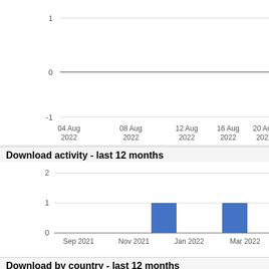[Figure (continuous-plot): Top portion of a line/time-series chart showing y-axis values 1, 0, -1 and x-axis dates from 04 Aug 2022 to 20 Aug 2022 (cropped at top)]
Download activity - last 12 months
[Figure (bar-chart): Download activity - last 12 months]
Download by country - last 12 months